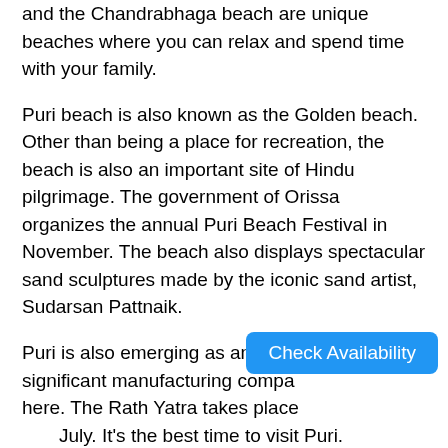and the Chandrabhaga beach are unique beaches where you can relax and spend time with your family.
Puri beach is also known as the Golden beach. Other than being a place for recreation, the beach is also an important site of Hindu pilgrimage. The government of Orissa organizes the annual Puri Beach Festival in November. The beach also displays spectacular sand sculptures made by the iconic sand artist, Sudarsan Pattnaik.
Puri is also emerging as an industrial hub with significant manufacturing companies here. The Rath Yatra takes place during June and July. It's the best time to visit Puri.